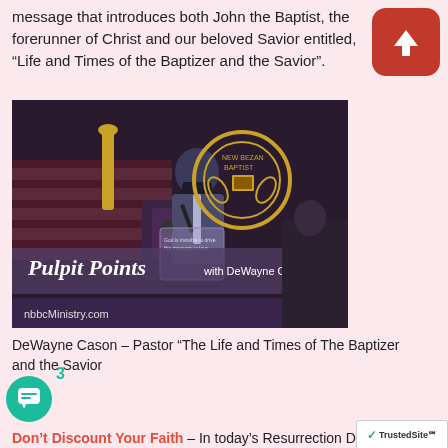message that introduces both John the Baptist, the forerunner of Christ and our beloved Savior entitled, “Life and Times of the Baptizer and the Savior”.
[Figure (photo): A pastor wearing a mask speaking at a podium in a church. A banner at the bottom reads 'Pulpit Points with DeWayne Cason' and 'nbbcMinistry.com'.]
DeWayne Cason – Pastor “The Life and Times of The Baptizer and the Savior
Don’t Discount Your Faith – In today’s Resurrection Day